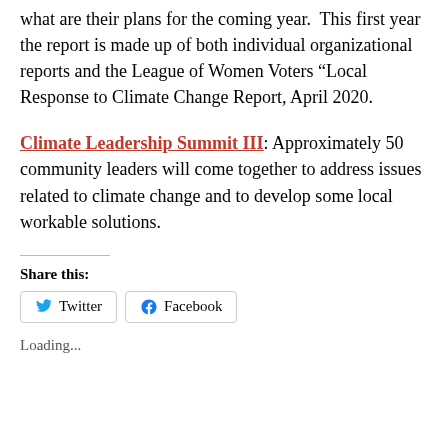what are their plans for the coming year.  This first year the report is made up of both individual organizational reports and the League of Women Voters “Local Response to Climate Change Report, April 2020.
Climate Leadership Summit III: Approximately 50 community leaders will come together to address issues related to climate change and to develop some local workable solutions.
Share this:
Twitter  Facebook
Loading...